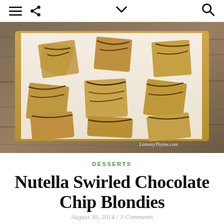≡  ⋖   ∨   🔍
[Figure (photo): Overhead photo of Nutella swirled chocolate chip blondies cut into squares, arranged on white parchment paper on a wooden cutting board, with a rustic wood background. Watermark reads LemonyThyme.com.]
DESSERTS
Nutella Swirled Chocolate Chip Blondies
August 30, 2014 / 3 Comments